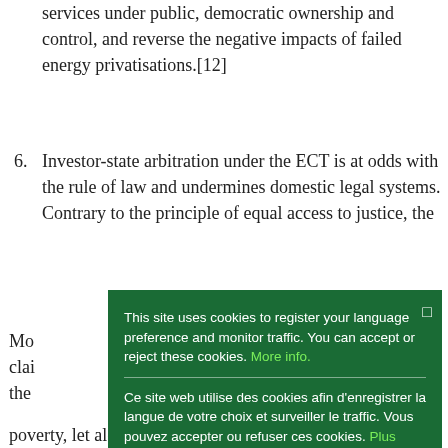services under public, democratic ownership and control, and reverse the negative impacts of failed energy privatisations.[12]
6. Investor-state arbitration under the ECT is at odds with the rule of law and undermines domestic legal systems. Contrary to the principle of equal access to justice, the
[Figure (screenshot): Cookie consent modal popup with dark green background. Contains English, French, and Spanish language cookie notices with links 'More info.', 'Plus d’infos.', and 'Mayor información.' respectively, separated by horizontal dividers. A bright green 'Ok' button appears at the bottom.]
Mo... clai... the...
poverty, let alone investment into renewable energy.[14]